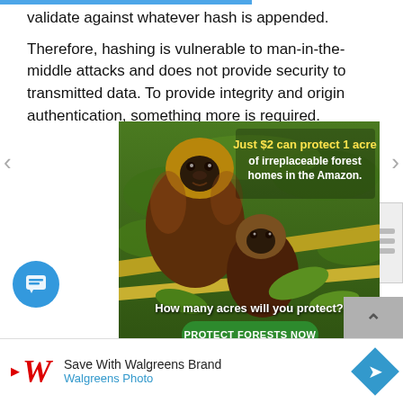validate against whatever hash is appended.
Therefore, hashing is vulnerable to man-in-the-middle attacks and does not provide security to transmitted data. To provide integrity and origin authentication, something more is required.
[Figure (photo): Advertisement featuring two monkeys (capuchins) in the Amazon rainforest on bamboo branches, with text overlay: 'Just $2 can protect 1 acre of irreplaceable forest homes in the Amazon.' and 'How many acres will you protect?' with a green 'PROTECT FORESTS NOW' button.]
[Figure (other): Walgreens Brand advertisement banner showing Walgreens logo with text 'Save With Walgreens Brand' and 'Walgreens Photo' with a blue diamond-shaped navigation icon.]